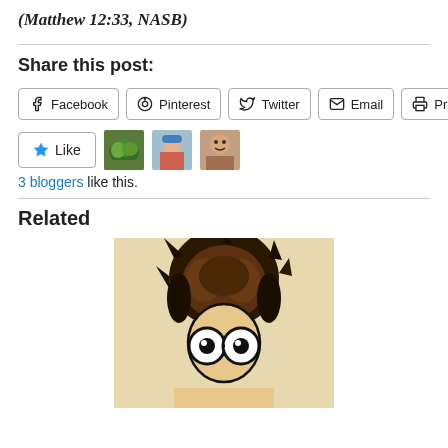(Matthew 12:33, NASB)
Share this post:
Facebook | Pinterest | Twitter | Email | Print
Like | 3 bloggers like this.
Related
[Figure (illustration): Cartoon illustration of a frazzled character with wild brown hair, large round glasses, appearing shocked or crazy. Rendered in a dark, gothic style with black outlines.]